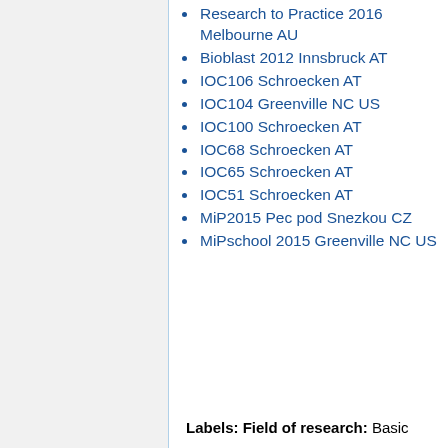Research to Practice 2016 Melbourne AU
Bioblast 2012 Innsbruck AT
IOC106 Schroecken AT
IOC104 Greenville NC US
IOC100 Schroecken AT
IOC68 Schroecken AT
IOC65 Schroecken AT
IOC51 Schroecken AT
MiP2015 Pec pod Snezkou CZ
MiPschool 2015 Greenville NC US
Labels: Field of research: Basic